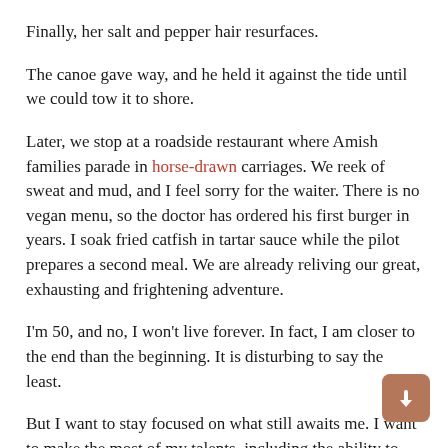Finally, her salt and pepper hair resurfaces.
The canoe gave way, and he held it against the tide until we could tow it to shore.
Later, we stop at a roadside restaurant where Amish families parade in horse-drawn carriages. We reek of sweat and mud, and I feel sorry for the waiter. There is no vegan menu, so the doctor has ordered his first burger in years. I soak fried catfish in tartar sauce while the pilot prepares a second meal. We are already reliving our great, exhausting and frightening adventure.
I'm 50, and no, I won't live forever. In fact, I am closer to the end than the beginning. It is disturbing to say the least.
But I want to stay focused on what still awaits me. I want to make the most of my talents, including the ability to form and strengthen deep and meaningful relationships. It's a way of remembering my mother and honoring what she taught me.
I know there will be ups and downs, accidents, injuries and